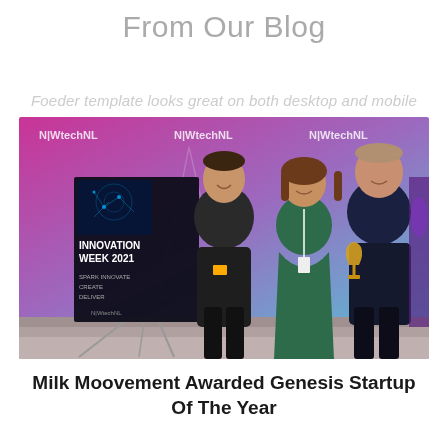From Our Blog
Foeder template looks great on both desktop and mobile
[Figure (photo): Three people standing in front of a NWtechNL Innovation Week 2021 backdrop with a sign on a easel. The person on the right is holding an award trophy.]
Milk Moovement Awarded Genesis Startup Of The Year